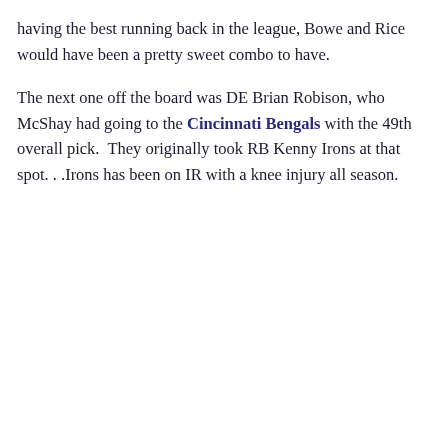having the best running back in the league, Bowe and Rice would have been a pretty sweet combo to have.
The next one off the board was DE Brian Robison, who McShay had going to the Cincinnati Bengals with the 49th overall pick.  They originally took RB Kenny Irons at that spot. . .Irons has been on IR with a knee injury all season.